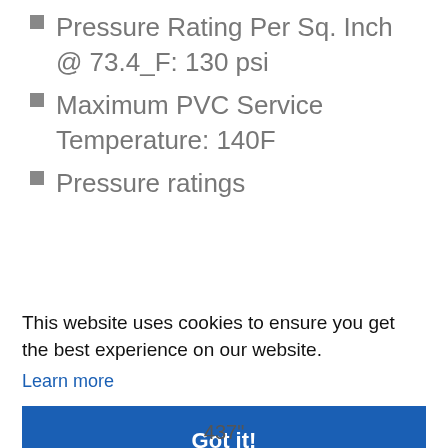Pressure Rating Per Sq. Inch @ 73.4_F: 130 psi
Maximum PVC Service Temperature: 140F
Pressure ratings
This website uses cookies to ensure you get the best experience on our website.
Learn more
Got it!
437"